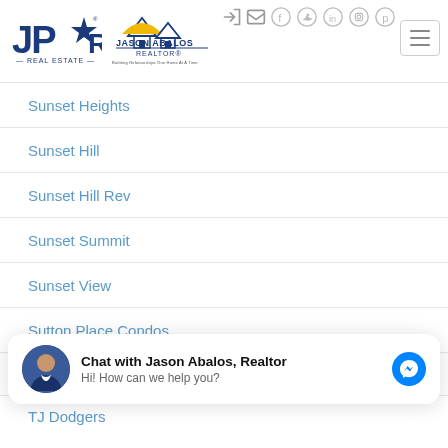[Figure (logo): JPAR Real Estate logo and Jason Abalos Realtor logo side by side in header]
[Figure (infographic): Social media icons (login, email, facebook, twitter, linkedin, instagram, pinterest) and hamburger menu in top right header]
Sunset Heights
Sunset Hill
Sunset Hill Rev
Sunset Summit
Sunset View
Sutton Place Condos
[Figure (infographic): Chat widget: avatar photo of Jason Abalos, text 'Chat with Jason Abalos, Realtor' and 'Hi! How can we help you?', with Facebook Messenger blue icon]
TJ Dodgers